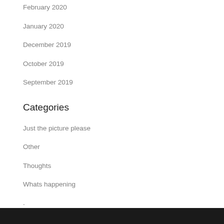February 2020
January 2020
December 2019
October 2019
September 2019
Categories
Just the picture please
Other
Thoughts
Whats happening
.